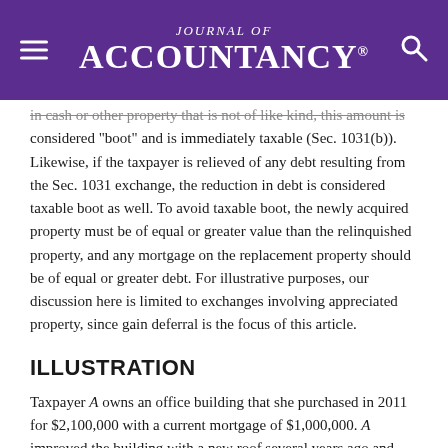Journal of Accountancy
in cash or other property that is not of like kind, this amount is considered "boot" and is immediately taxable (Sec. 1031(b)). Likewise, if the taxpayer is relieved of any debt resulting from the Sec. 1031 exchange, the reduction in debt is considered taxable boot as well. To avoid taxable boot, the newly acquired property must be of equal or greater value than the relinquished property, and any mortgage on the replacement property should be of equal or greater debt. For illustrative purposes, our discussion here is limited to exchanges involving appreciated property, since gain deferral is the focus of this article.
ILLUSTRATION
Taxpayer A owns an office building that she purchased in 2011 for $2,100,000 with a current mortgage of $1,000,000. A improved the building with a new roof several years ago and took annual depreciation deductions so that the current adjusted basis of the office building is $1,760,000, calculated